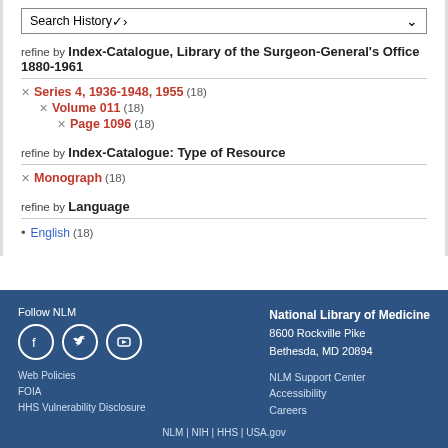Search History
refine by Index-Catalogue, Library of the Surgeon-General's Office 1880-1961
× Series 4, 1936-1948, 1955 (18)
× Volume 011 (18)
× Page 1096 (18)
refine by Index-Catalogue: Type of Resource
× Monograph (18)
refine by Language
· English (18)
Follow NLM | National Library of Medicine 8600 Rockville Pike Bethesda, MD 20894 | NLM Support Center | Accessibility | Careers | Web Policies | FOIA | HHS Vulnerability Disclosure | NLM | NIH | HHS | USA.gov